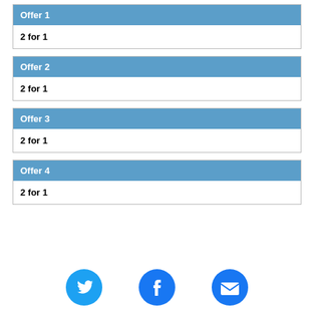Offer 1
2 for 1
Offer 2
2 for 1
Offer 3
2 for 1
Offer 4
2 for 1
[Figure (logo): Twitter bird icon (blue circle)]
[Figure (logo): Facebook f icon (blue circle)]
[Figure (logo): Email envelope icon (blue circle)]